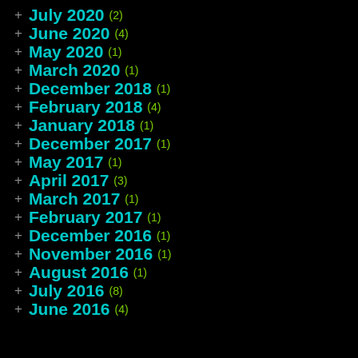July 2020 (2)
June 2020 (4)
May 2020 (1)
March 2020 (1)
December 2018 (1)
February 2018 (4)
January 2018 (1)
December 2017 (1)
May 2017 (1)
April 2017 (3)
March 2017 (1)
February 2017 (1)
December 2016 (1)
November 2016 (1)
August 2016 (1)
July 2016 (8)
June 2016 (4)